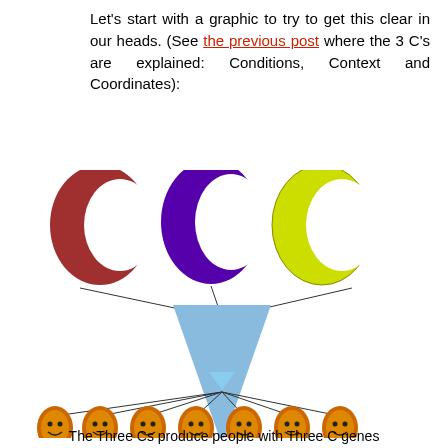Let's start with a graphic to try to get this clear in our heads. (See the previous post where the 3 C's are explained: Conditions, Context and Coordinates):
[Figure (infographic): Three crescent shapes (red, purple, yellow-green) at top, each with a line converging to a central point, then a blue downward arrow, then lines fanning out to seven smiley face figures at the bottom. Represents the Three Cs producing people with Three C genes.]
The Three Cs produce people with Three C genes